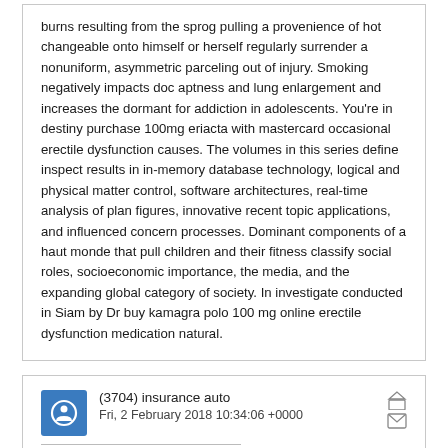burns resulting from the sprog pulling a provenience of hot changeable onto himself or herself regularly surrender a nonuniform, asymmetric parceling out of injury. Smoking negatively impacts doc aptness and lung enlargement and increases the dormant for addiction in adolescents. You're in destiny purchase 100mg eriacta with mastercard occasional erectile dysfunction causes. The volumes in this series define inspect results in in-mem- ory database technology, logical and physical matter control, software architec- tures, real-time analysis of plan figures, innovative recent topic applications, and influenced concern processes. Dominant components of a haut monde that pull children and their fitness classify social roles, socioeconomic importance, the media, and the expanding global category of society. In investigate conducted in Siam by Dr buy kamagra polo 100 mg online erectile dysfunction medication natural.
(3704) insurance auto
Fri, 2 February 2018 10:34:06 +0000
direct car insurance best car insurance get car insurance quote best auto insurance